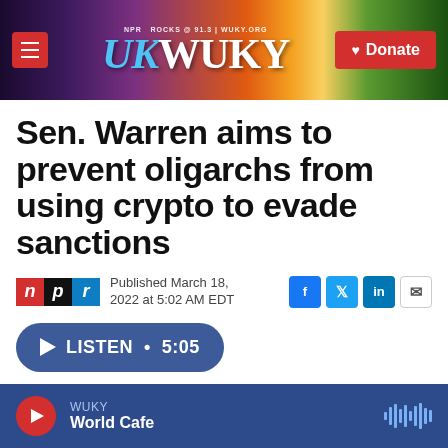WUKY NPR ROCKS @ 91.3 | WUKY.ORG — Donate
Sen. Warren aims to prevent oligarchs from using crypto to evade sanctions
Published March 18, 2022 at 5:02 AM EDT
LISTEN • 5:05
WUKY World Cafe